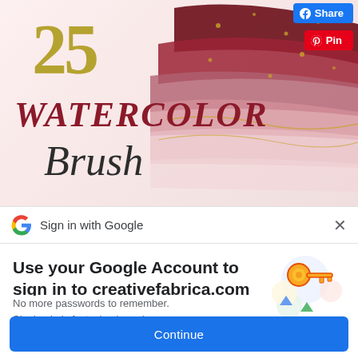[Figure (screenshot): Watercolor brush strokes product image showing '25 WATERCOLOR Brush' text with colorful brush stroke decorations in red, pink, burgundy and gold colors. Social share buttons (Facebook Share and Pinterest Pin) visible in top right corner.]
Sign in with Google
Use your Google Account to sign in to creativefabrica.com
No more passwords to remember. Signing in is fast, simple and secure.
Continue